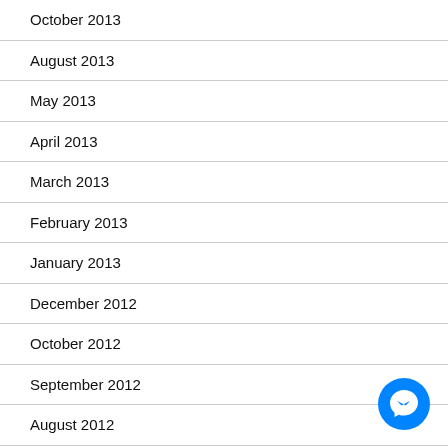October 2013
August 2013
May 2013
April 2013
March 2013
February 2013
January 2013
December 2012
October 2012
September 2012
August 2012
[Figure (logo): Facebook Messenger circular blue button icon]